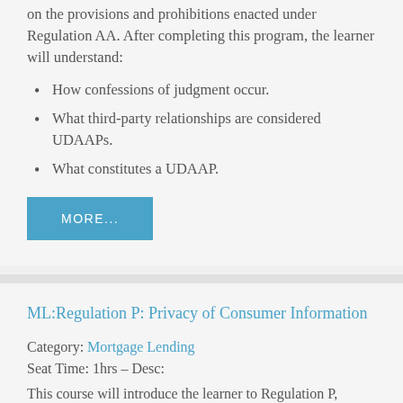on the provisions and prohibitions enacted under Regulation AA. After completing this program, the learner will understand:
How confessions of judgment occur.
What third-party relationships are considered UDAAPs.
What constitutes a UDAAP.
[Figure (other): Blue button labeled MORE...]
ML:Regulation P: Privacy of Consumer Information
Category: Mortgage Lending
Seat Time: 1hrs - Desc:
This course will introduce the learner to Regulation P, which distinguishes between nonpublic and public information. The learner will also be provided with an